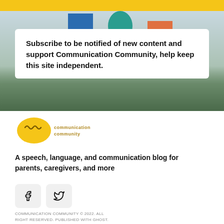[Figure (photo): Hero banner image with colored geometric shapes (blue rectangle, teal circle, orange rectangle) and people standing in a field below, with a yellow top bar]
Subscribe to be notified of new content and support Communication Community, help keep this site independent.
[Figure (logo): Communication Community logo: yellow speech bubble with wave/sound icon and text 'communication community']
A speech, language, and communication blog for parents, caregivers, and more
[Figure (other): Social media icon buttons: Facebook and Twitter]
COMMUNICATION COMMUNITY © 2022. ALL RIGHT RESERVED. PUBLISHED WITH GHOST.